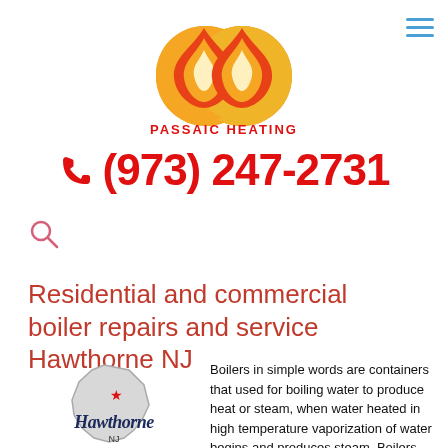[Figure (logo): Passaic Heating logo with two flame icons (red/orange/yellow) and text PASSAIC HEATING below in red]
[Figure (other): Hamburger menu icon (three horizontal blue lines) in top-right corner]
📞 (973) 247-2731
[Figure (other): Search magnifying glass icon in pink/red outline]
Residential and commercial boiler repairs and service Hawthorne NJ
[Figure (map): Outline map of New Jersey with a red star marker and cursive Hawthorne NJ text overlay]
Boilers in simple words are containers that used for boiling water to produce heat or steam, when water heated in high temperature vaporization of water begins and produces steam. Boilers are the heart of any boiler-based industries and therefore, continuous monitoring,